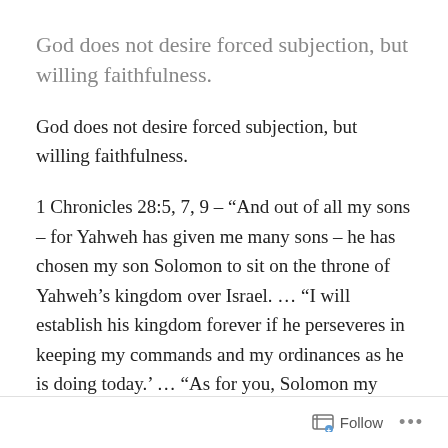God does not desire forced subjection, but willing faithfulness.
God does not desire forced subjection, but willing faithfulness.
1 Chronicles 28:5, 7, 9 – “And out of all my sons – for Yahweh has given me many sons – he has chosen my son Solomon to sit on the throne of Yahweh’s kingdom over Israel. … “I will establish his kingdom forever if he perseveres in keeping my commands and my ordinances as he is doing today.’ … “As for you, Solomon my son, know the God of your father,
Follow ...